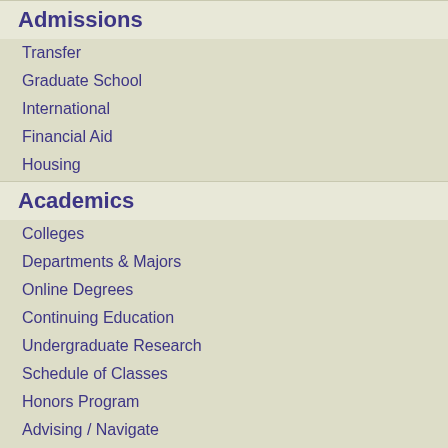Admissions
Transfer
Graduate School
International
Financial Aid
Housing
Academics
Colleges
Departments & Majors
Online Degrees
Continuing Education
Undergraduate Research
Schedule of Classes
Honors Program
Advising / Navigate
Course Catalog
Graduation
Transcripts
Warhawk Life